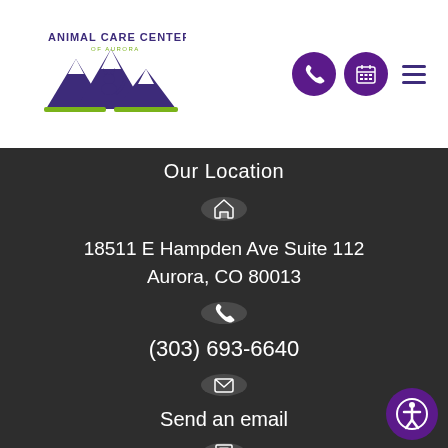[Figure (logo): Animal Care Center logo with mountain silhouette and animal figure, purple and green colors]
Our Location
[Figure (illustration): Home icon in dark circle]
18511 E Hampden Ave Suite 112
Aurora, CO 80013
[Figure (illustration): Phone icon in dark circle]
(303) 693-6640
[Figure (illustration): Email/envelope icon in dark circle]
Send an email
[Figure (illustration): Calendar/fax icon in dark circle]
[Figure (illustration): Accessibility icon in purple circle, bottom right]